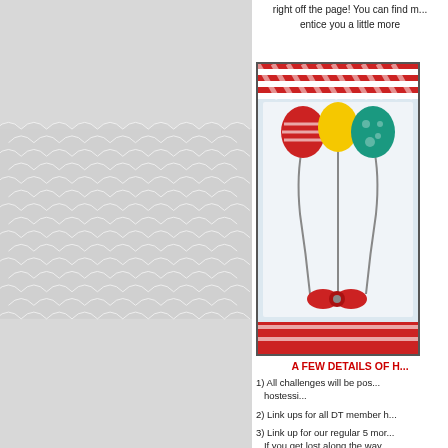right off the page! You can find m... entice you a little more
[Figure (photo): A handmade greeting card with colorful balloon decorations (red striped, yellow, and teal patterned balloons) tied with string and a red bow accent, on a white textured background with a red and white striped border at the top.]
A FEW DETAILS OF H...
1) All challenges will be pos... hostessi...
2) Link ups for all DT member h...
3) Link up for our regular 5 mor... If you get lost along the way...